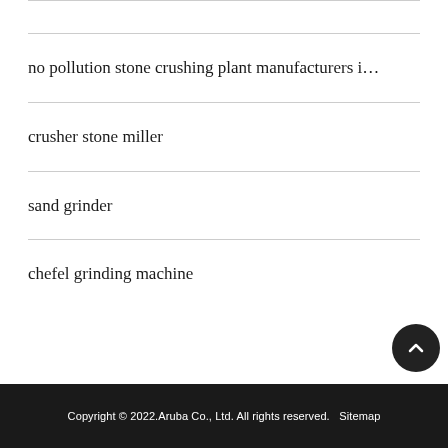no pollution stone crushing plant manufacturers i…
crusher stone miller
sand grinder
chefel grinding machine
Copyright © 2022.Aruba Co., Ltd. All rights reserved.   Sitemap